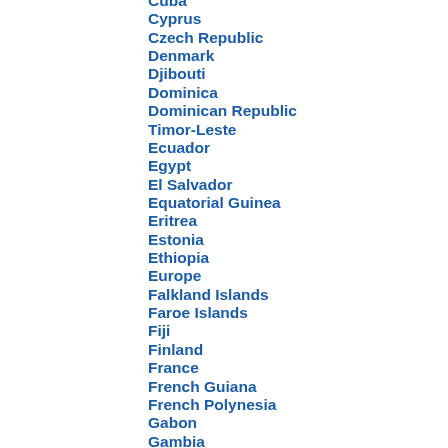Cuba
Cyprus
Czech Republic
Denmark
Djibouti
Dominica
Dominican Republic
Timor-Leste
Ecuador
Egypt
El Salvador
Equatorial Guinea
Eritrea
Estonia
Ethiopia
Europe
Falkland Islands
Faroe Islands
Fiji
Finland
France
French Guiana
French Polynesia
Gabon
Gambia
Gaza Strip
Georgia (Republic)
Germany
Ghana
Gibralter
Greece